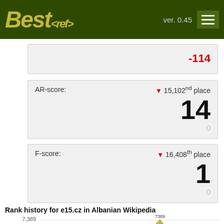Best<ref> ver. 0.45
-114
AR-score: ▼ 15,102nd place
14
0
F-score: ▼ 16,408th place
1
0
Rank history for e15.cz in Albanian Wikipedia
[Figure (line-chart): Rank history for e15.cz in Albanian Wikipedia]